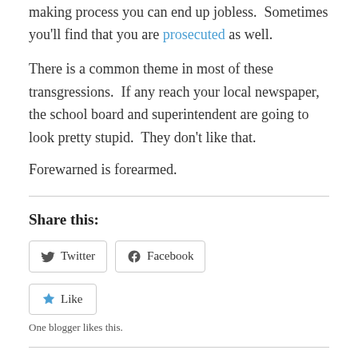making process you can end up jobless.  Sometimes you'll find that you are prosecuted as well.
There is a common theme in most of these transgressions.  If any reach your local newspaper, the school board and superintendent are going to look pretty stupid.  They don't like that.
Forewarned is forearmed.
Share this:
Twitter  Facebook
Like  One blogger likes this.
Related